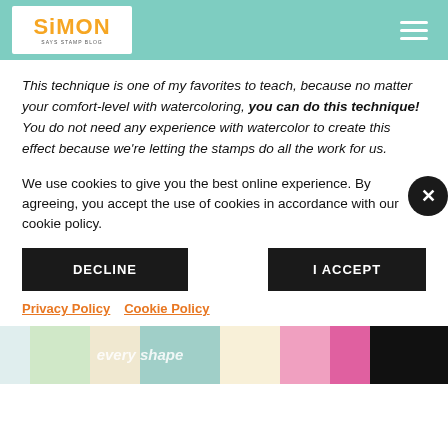Simon Says Stamp Blog
This technique is one of my favorites to teach, because no matter your comfort-level with watercoloring, you can do this technique! You do not need any experience with watercolor to create this effect because we’re letting the stamps do all the work for us.
We use cookies to give you the best online experience. By agreeing, you accept the use of cookies in accordance with our cookie policy.
DECLINE
I ACCEPT
Privacy Policy   Cookie Policy
[Figure (photo): Bottom strip showing craft/stamping supplies and products]